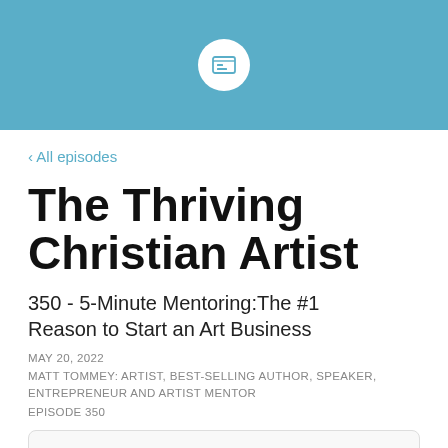[Figure (logo): Blue header bar with white circular podcast/app icon in the center]
‹ All episodes
The Thriving Christian Artist
350 - 5-Minute Mentoring:The #1 Reason to Start an Art Business
MAY 20, 2022
MATT TOMMEY: ARTIST, BEST-SELLING AUTHOR, SPEAKER, ENTREPRENEUR AND ARTIST MENTOR
EPISODE 350
[Figure (screenshot): Card preview showing podcast name 'The Thriving Christian Artist' and episode title '350 - 5-Minute Ment...' partially visible]